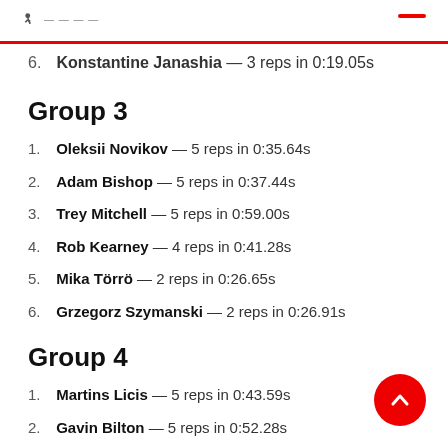6. Konstantine Janashia — 3 reps in 0:19.05s
Group 3
1. Oleksii Novikov — 5 reps in 0:35.64s
2. Adam Bishop — 5 reps in 0:37.44s
3. Trey Mitchell — 5 reps in 0:59.00s
4. Rob Kearney — 4 reps in 0:41.28s
5. Mika Törrö — 2 reps in 0:26.65s
6. Grzegorz Szymanski — 2 reps in 0:26.91s
Group 4
1. Martins Licis — 5 reps in 0:43.59s
2. Gavin Bilton — 5 reps in 0:52.28s
3. Shane Flowers — 4 reps in 0:36.69s
4. Maxime Boudreault — 3 reps in 0:21.12s
5. Pavlo Kordiyaka — 3 reps in 0:38.50s